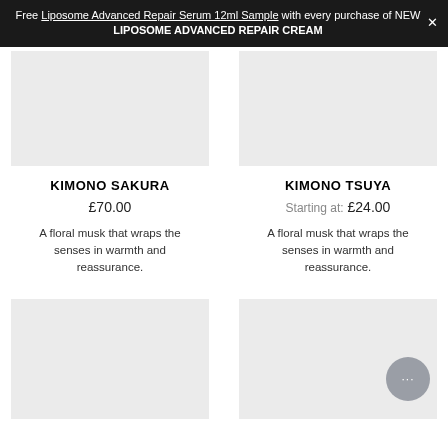Free Liposome Advanced Repair Serum 12ml Sample with every purchase of NEW LIPOSOME ADVANCED REPAIR CREAM
[Figure (photo): Product image placeholder for Kimono Sakura (top left), light grey rectangle]
[Figure (photo): Product image placeholder for Kimono Tsuya (top right), light grey rectangle]
KIMONO SAKURA
£70.00
A floral musk that wraps the senses in warmth and reassurance.
KIMONO TSUYA
Starting at: £24.00
A floral musk that wraps the senses in warmth and reassurance.
[Figure (photo): Product image placeholder bottom left, light grey rectangle]
[Figure (photo): Product image placeholder bottom right, light grey rectangle with chat bubble overlay]